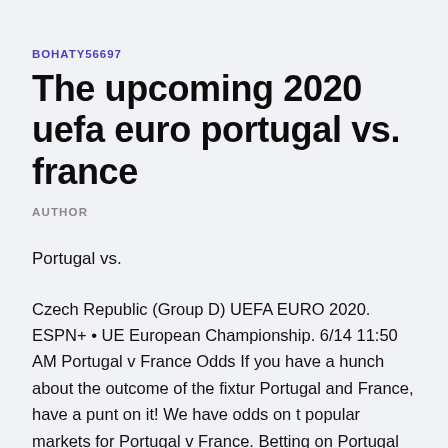BOHATY56697
The upcoming 2020 uefa euro portugal vs. france
AUTHOR
Portugal vs.
Czech Republic (Group D) UEFA EURO 2020. ESPN+ • UE European Championship. 6/14 11:50 AM Portugal v France Odds If you have a hunch about the outcome of the fixtur Portugal and France, have a punt on it! We have odds on t popular markets for Portugal v France. Betting on Portugal Bet on the football fixture between Portugal and France, v